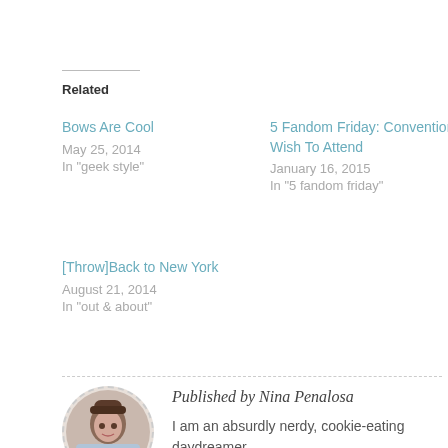Related
Bows Are Cool
May 25, 2014
In "geek style"
5 Fandom Friday: Conventions I Wish To Attend
January 16, 2015
In "5 fandom friday"
[Throw]Back to New York
August 21, 2014
In "out & about"
Published by Nina Penalosa
I am an absurdly nerdy, cookie-eating daydreamer.